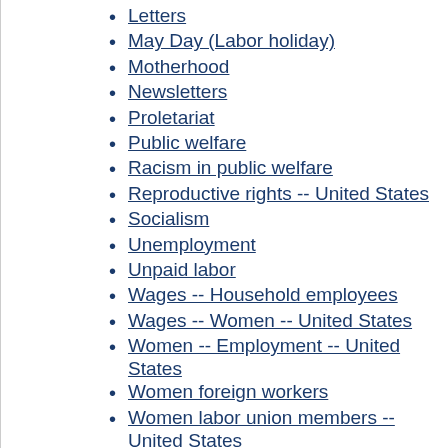Letters
May Day (Labor holiday)
Motherhood
Newsletters
Proletariat
Public welfare
Racism in public welfare
Reproductive rights -- United States
Socialism
Unemployment
Unpaid labor
Wages -- Household employees
Wages -- Women -- United States
Women -- Employment -- United States
Women foreign workers
Women labor union members -- United States
Women's rights
Women, Black